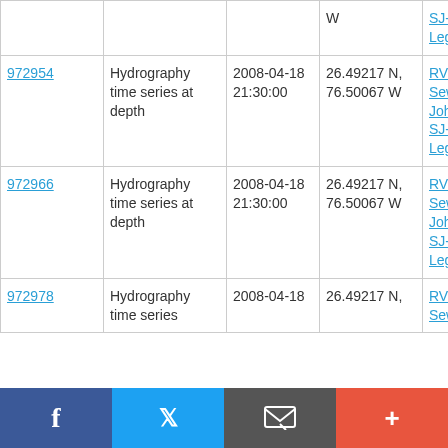| ID | Type | Date | Location | Cruise |
| --- | --- | --- | --- | --- |
|  |  |  | W | SJ-08-03
Leg 1 |
| 972954 | Hydrography time series at depth | 2008-04-18 21:30:00 | 26.49217 N, 76.50067 W | RV Seward Johnson SJ-08-03 Leg 1 |
| 972966 | Hydrography time series at depth | 2008-04-18 21:30:00 | 26.49217 N, 76.50067 W | RV Seward Johnson SJ-08-03 Leg 1 |
| 972978 | Hydrography time series | 2008-04-18 | 26.49217 N, | RV Seward |